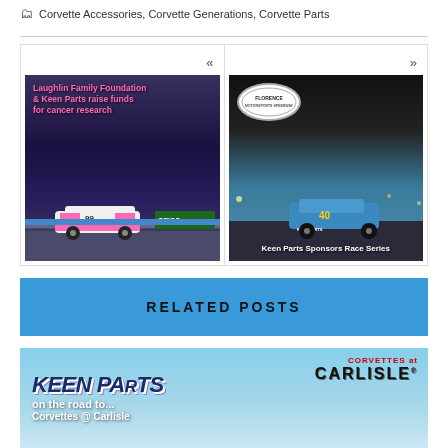Corvette Accessories, Corvette Generations, Corvette Parts
[Figure (photo): Navigation block with two panels: left panel shows pink/white NASCAR car #99 with text 'Laughlin Family Foundation & Keen Parts raise funds for cancer research'; right panel shows blue race car with Florence Motorsports Speedway logo and text 'Keen Parts Sponsors Race Series']
RELATED POSTS
[Figure (photo): Keen Parts banner ad with light blue background showing 'KEEN PARTS on the road to... Corvettes @ Carlisle' with 'CORVETTES at CARLISLE' logo on right]